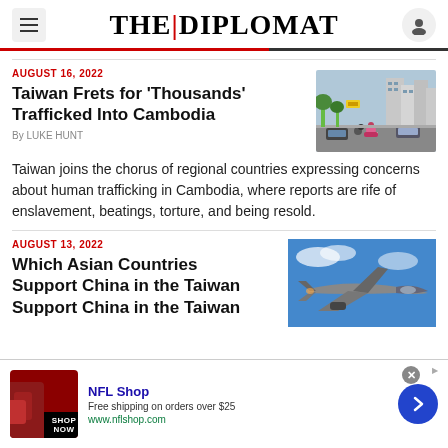THE DIPLOMAT
AUGUST 16, 2022
Taiwan Frets for 'Thousands' Trafficked Into Cambodia
By LUKE HUNT
[Figure (photo): Street scene in Cambodia with motorcycles and buildings]
Taiwan joins the chorus of regional countries expressing concerns about human trafficking in Cambodia, where reports are rife of enslavement, beatings, torture, and being resold.
AUGUST 13, 2022
Which Asian Countries Support China in the Taiwan
[Figure (photo): Military jet aircraft in flight against blue sky]
NFL Shop — Free shipping on orders over $25 — www.nflshop.com